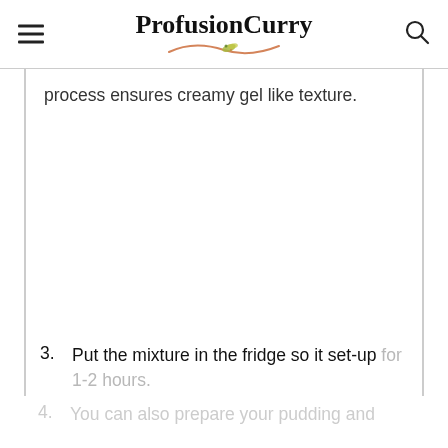ProfusionCurry
process ensures creamy gel like texture.
3. Put the mixture in the fridge so it set-up for 1-2 hours.
4. You can also prepare your pudding and